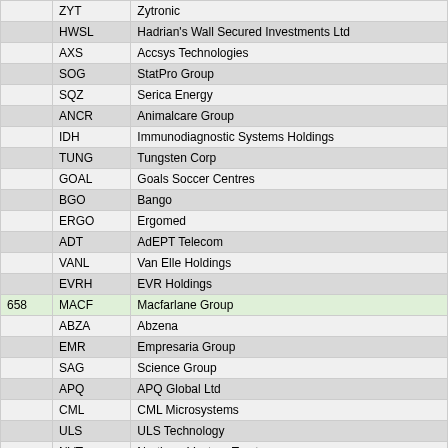|  | Ticker | Company Name |
| --- | --- | --- |
|  | ZYT | Zytronic |
|  | HWSL | Hadrian's Wall Secured Investments Ltd |
|  | AXS | Accsys Technologies |
|  | SOG | StatPro Group |
|  | SQZ | Serica Energy |
|  | ANCR | Animalcare Group |
|  | IDH | Immunodiagnostic Systems Holdings |
|  | TUNG | Tungsten Corp |
|  | GOAL | Goals Soccer Centres |
|  | BGO | Bango |
|  | ERGO | Ergomed |
|  | ADT | AdEPT Telecom |
|  | VANL | Van Elle Holdings |
|  | EVRH | EVR Holdings |
| 658 | MACF | Macfarlane Group |
|  | ABZA | Abzena |
|  | EMR | Empresaria Group |
|  | SAG | Science Group |
|  | APQ | APQ Global Ltd |
|  | CML | CML Microsystems |
|  | ULS | ULS Technology |
|  | NVT | Northern Venture Trust |
| 659 | FLYB | Flybe Group |
|  | MMX | Mind plus Machines Group Ltd |
|  | EHG | Elegant Hotels Group |
|  | SGM | Sigma Capital Group |
|  | LIV | Livermore Investments Group Ltd |
| 660 | HOT | Henderson Opportunities Trust |